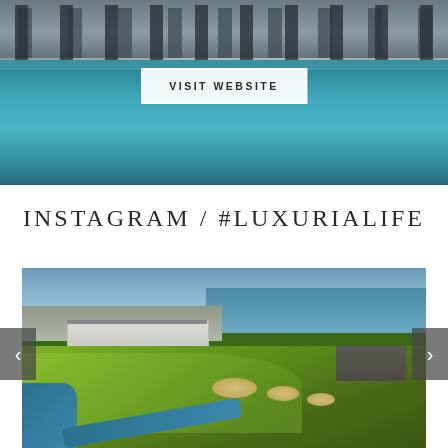[Figure (photo): Aerial/side view of a luxury hotel swimming pool with lounge chairs on the deck, teal water reflecting the sky]
VISIT WEBSITE
INSTAGRAM / #LUXURIALIFE
[Figure (photo): Aerial photograph of a coastal golf course with green fairways, bunkers, a water channel, a large white hotel building, a seaside town, and the ocean in the background]
<
>